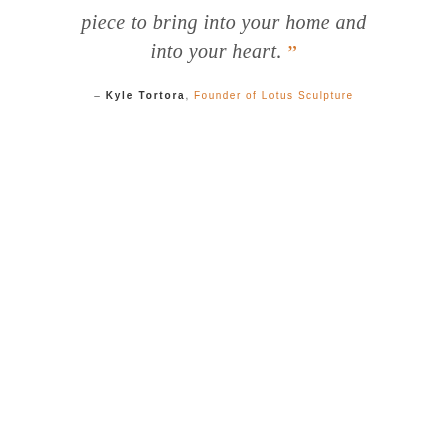piece to bring into your home and into your heart. ”
- Kyle Tortora, Founder of Lotus Sculpture